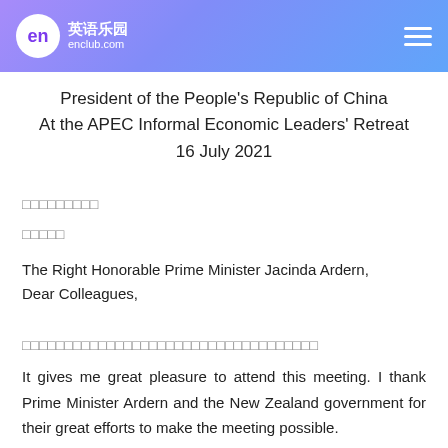英语乐园 enclub.com
President of the People's Republic of China
At the APEC Informal Economic Leaders' Retreat
16 July 2021
□□□□□□□□□
□□□□□
The Right Honorable Prime Minister Jacinda Ardern,
Dear Colleagues,
□□□□□□□□□□□□□□□□□□□□□□□□□□□□□□□□□□□
It gives me great pleasure to attend this meeting. I thank Prime Minister Ardern and the New Zealand government for their great efforts to make the meeting possible.